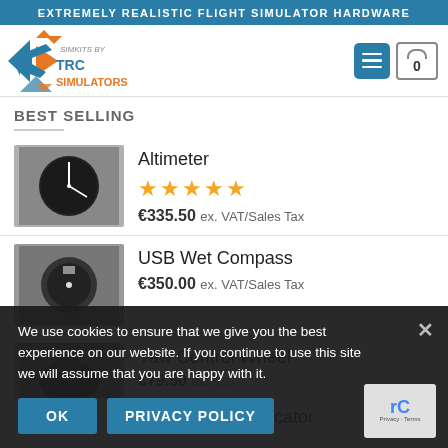EXTREMELY REALISTIC FLIGHT SIMULATOR HARDWARE
[Figure (logo): TRC Simulators logo with orange/blue arrow icon and text 'SIMKITS BY TRC SIMULATORS']
BEST SELLING
Altimeter
★★★★★
€335.50 ex. VAT/Sales Tax
USB Wet Compass
€350.00 ex. VAT/Sales Tax
Yaw Control Wheel
€79.50 ex. VAT/Sales Tax
USB Attitude Indicator
We use cookies to ensure that we give you the best experience on our website. If you continue to use this site we will assume that you are happy with it.
OK
PRIVACY POLICY